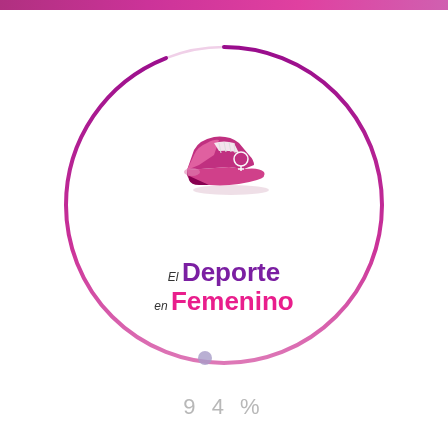[Figure (infographic): Loading screen for 'El Deporte en Femenino' app/website showing a circular progress indicator at 94% with a sports shoe icon and brand logo in the center]
94%